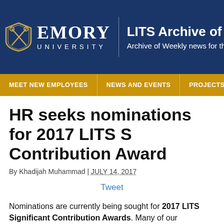EMORY UNIVERSITY — LITS Archive of On — Archive of Weekly news for the s
MEET NEW EMPLOYEES | NEWS AND EVENTS | PROJECTS AND PROCES
HR seeks nominations for 2017 LITS S Contribution Award
By Khadijah Muhammad | JULY 14, 2017
Tweet
Nominations are currently being sought for 2017 LITS Significant Contribution Awards.  Many of our employees have made key milestone contributions